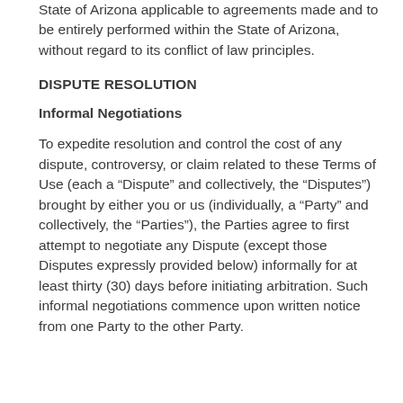State of Arizona applicable to agreements made and to be entirely performed within the State of Arizona, without regard to its conflict of law principles.
DISPUTE RESOLUTION
Informal Negotiations
To expedite resolution and control the cost of any dispute, controversy, or claim related to these Terms of Use (each a “Dispute” and collectively, the “Disputes”) brought by either you or us (individually, a “Party” and collectively, the “Parties”), the Parties agree to first attempt to negotiate any Dispute (except those Disputes expressly provided below) informally for at least thirty (30) days before initiating arbitration. Such informal negotiations commence upon written notice from one Party to the other Party.